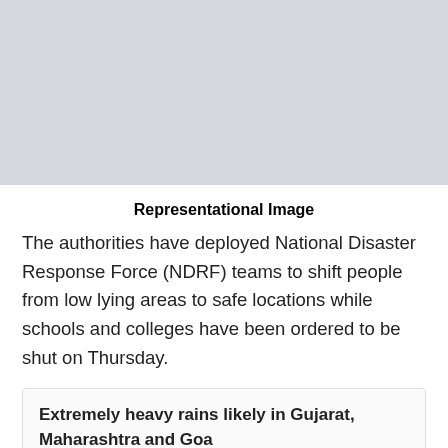[Figure (photo): Representational image placeholder — grey rectangle]
Representational Image
The authorities have deployed National Disaster Response Force (NDRF) teams to shift people from low lying areas to safe locations while schools and colleges have been ordered to be shut on Thursday.
Extremely heavy rains likely in Gujarat, Maharashtra and Goa